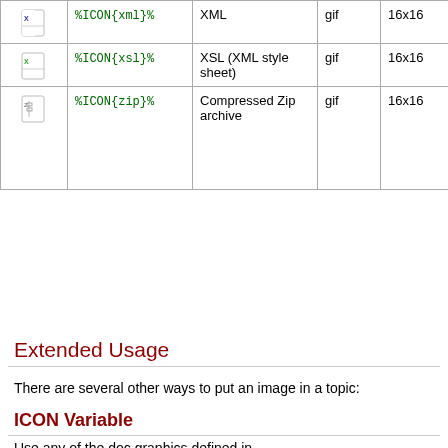| Icon | Variable | Description | Format | Size | Aliases |
| --- | --- | --- | --- | --- | --- |
| [xml icon] | %ICON{xml}% | XML | gif | 16x16 |  |
| [xsl icon] | %ICON{xsl}% | XSL (XML style sheet) | gif | 16x16 |  |
| [zip icon] | %ICON{zip}% | Compressed Zip archive | gif | 16x16 | arc, arj, b64, bhx, cab, hqx, lzh, mim, tar, taz, tgz, tz, z |
Extended Usage
There are several other ways to put an image in a topic:
ICON Variable
Use any of the doc graphics defined in